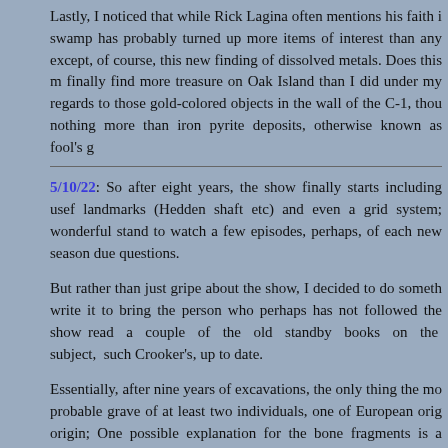Lastly, I noticed that while Rick Lagina often mentions his faith in the swamp has probably turned up more items of interest than any other area except, of course, this new finding of dissolved metals. Does this mean they'll finally find more treasure on Oak Island than I did under my watch? With regards to those gold-colored objects in the wall of the C-1, though, they are nothing more than iron pyrite deposits, otherwise known as fool's gold.
5/10/22: So after eight years, the show finally starts including useful landmarks (Hedden shaft etc) and even a grid system; wonderful. I can only stand to watch a few episodes, perhaps, of each new season due to unanswered questions.
But rather than just gripe about the show, I decided to do something about it: write it to bring the person who perhaps has not followed the show closely but read a couple of the old standby books on the subject, such as Harris and Crooker's, up to date.
Essentially, after nine years of excavations, the only thing the most is the probable grave of at least two individuals, one of European origin and one of Mi'kmaq origin; One possible explanation for the bone fragments is a collapse of the money pit in 1861, which could easily have pulverized the remains into bits along with other items (china, pottery, books etc) that are now scattered far and wide.
I believe I am correct in the statement that most of the carbon dat...